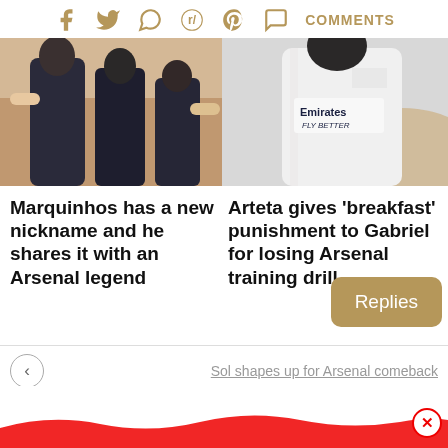Social share bar with icons: Facebook, Twitter, WhatsApp, Reddit, Pinterest, Comments
[Figure (photo): Two Arsenal players in dark training kit on left; Arsenal player in white Emirates jersey on right]
Marquinhos has a new nickname and he shares it with an Arsenal legend
Arteta gives 'breakfast' punishment to Gabriel for losing Arsenal training drill
Replies
Sol shapes up for Arsenal comeback